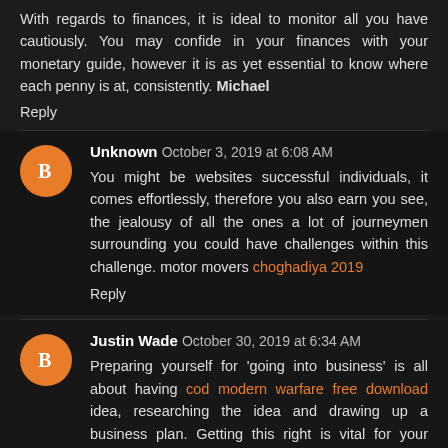With regards to finances, it is ideal to monitor all you have cautiously. You may confide in your finances with your monetary guide, however it is as yet essential to know where each penny is at, consistently. Michael
Reply
Unknown  October 3, 2019 at 6:08 AM
You might be websites successful individuals, it comes effortlessly, therefore you also earn you see, the jealousy of all the ones a lot of journeymen surrounding you could have challenges within this challenge. motor movers choghadiya 2019
Reply
Justin Wade  October 30, 2019 at 6:34 AM
Preparing yourself for 'going into business' is all about having cod modern warfare free download idea, researching the idea and drawing up a business plan. Getting this right is vital for your future small business